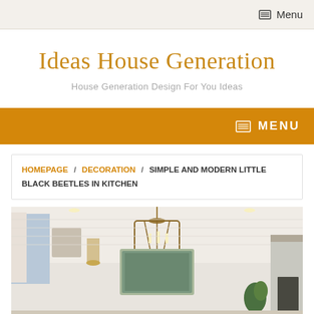Menu
Ideas House Generation
House Generation Design For You Ideas
MENU
HOMEPAGE / DECORATION / SIMPLE AND MODERN LITTLE BLACK BEETLES IN KITCHEN
[Figure (photo): Kitchen interior with white walls, pendant lantern chandelier, a teal-green framed artwork, plants, curtains, and recessed lighting]